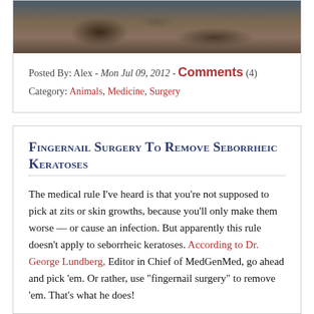[Figure (photo): Partial view of an outdoor scene with soil and rocks, brownish tones — top portion of a blog post image]
Posted By: Alex - Mon Jul 09, 2012 - Comments (4)
Category: Animals, Medicine, Surgery
Fingernail Surgery To Remove Seborrheic Keratoses
The medical rule I've heard is that you're not supposed to pick at zits or skin growths, because you'll only make them worse — or cause an infection. But apparently this rule doesn't apply to seborrheic keratoses. According to Dr. George Lundberg, Editor in Chief of MedGenMed, go ahead and pick 'em. Or rather, use "fingernail surgery" to remove 'em. That's what he does!